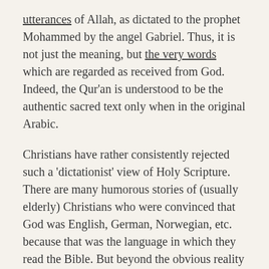utterances of Allah, as dictated to the prophet Mohammed by the angel Gabriel.  Thus, it is not just the meaning, but the very words which are regarded as received from God.  Indeed, the Qur'an is understood to be the authentic sacred text only when in the original Arabic.
Christians have rather consistently rejected such a 'dictationist' view of Holy Scripture.  There are many humorous stories of (usually elderly) Christians who were convinced that God was English, German, Norwegian, etc. because that was the language in which they read the Bible.  But beyond the obvious reality that almost all of us read the Bible in translations (rather than the original Hebrew and Greek in which it was written) there is also the undeniable reality that (with a few rare exceptions such as Mark 5:41, 15:34), the